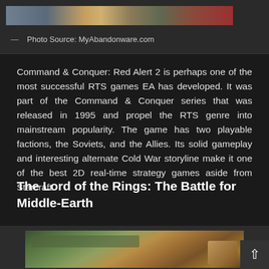[Figure (screenshot): Top portion of a screenshot from Command & Conquer: Red Alert 2 gameplay, showing units and terrain in a top-down RTS view. Only the bottom sliver is visible.]
— Photo Source: MyAbandonware.com
Command & Conquer: Red Alert 2 is perhaps one of the most successful RTS games EA has developed. It was part of the Command & Conquer series that was released in 1995 and propel the RTS genre into mainstream popularity. The game has two playable factions, the Soviets, and the Allies. Its solid gameplay and interesting alternate Cold War storyline make it one of the best 2D real-time strategy games aside from Starcraft.
The Lord of the Rings: The Battle for Middle-Earth
[Figure (screenshot): Screenshot from The Lord of the Rings: The Battle for Middle-Earth game, showing armies of soldiers and a large armored creature (Ent or troll) in a battlefield environment with green terrain.]